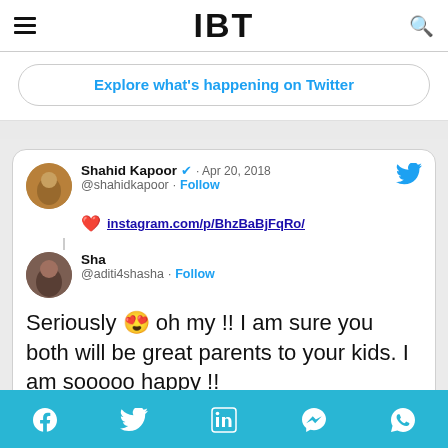IBT
Explore what's happening on Twitter
[Figure (screenshot): Tweet from Shahid Kapoor (@shahidkapoor) dated Apr 20, 2018 with a heart emoji and instagram.com/p/BhzBaBjFqRo/ link, and a reply from Sha (@aditi4shasha) saying: Seriously 😍 oh my !! I am sure you both will be great parents to your kids. I am sooooo happy !! posted at 5:08 PM · Apr 20, 2018]